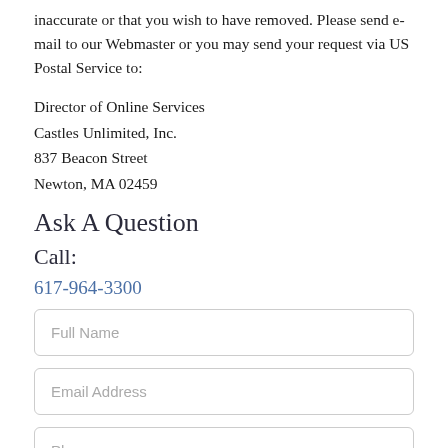inaccurate or that you wish to have removed. Please send e-mail to our Webmaster or you may send your request via US Postal Service to:
Director of Online Services
Castles Unlimited, Inc.
837 Beacon Street
Newton, MA 02459
Ask A Question
Call:
617-964-3300
Full Name
Email Address
Phone